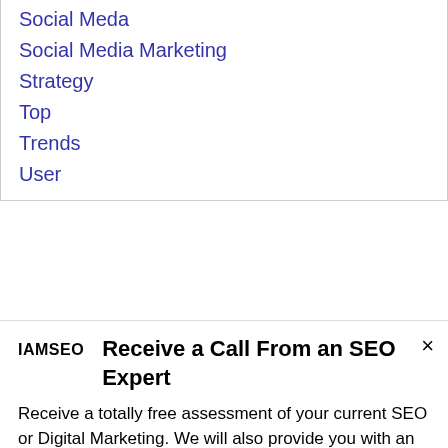Social Meda
Social Media Marketing
Strategy
Top
Trends
User
Receive a Call From an SEO Expert
Receive a totally free assessment of your current SEO or Digital Marketing. We will also provide you with an Audit completely on us!
Take a chance on this one-in-a-lifetime opportunity to help increase your online sales.
TOP SECRET:
We'll let you know what your competitors are up to.